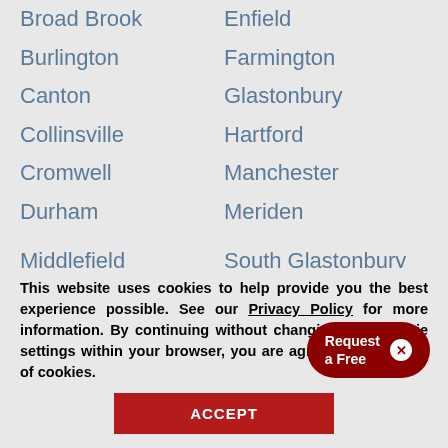Broad Brook
Burlington
Canton
Collinsville
Cromwell
Durham
Enfield
Farmington
Glastonbury
Hartford
Manchester
Meriden
Middlefield
Middletown
Milldale
New Britain
South Glastonbury
South Windsor
Southington
Vern...
This website uses cookies to help provide you the best experience possible. See our Privacy Policy for more information. By continuing without changing your cookie settings within your browser, you are agreeing to our use of cookies.